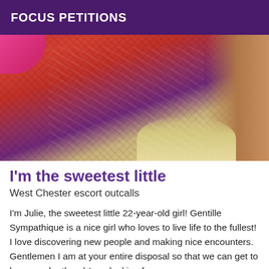FOCUS PETITIONS
[Figure (photo): Close-up photo showing a red and blue patterned floral/print fabric garment, with skin visible on the right side, a pink item in the top-left corner, and a cream/yellow fabric at the bottom-right.]
I'm the sweetest little
West Chester escort outcalls
I'm Julie, the sweetest little 22-year-old girl! Gentille Sympathique is a nice girl who loves to live life to the fullest! I love discovering new people and making nice encounters. Gentlemen I am at your entire disposal so that we can get to know each other ;) I am looking for